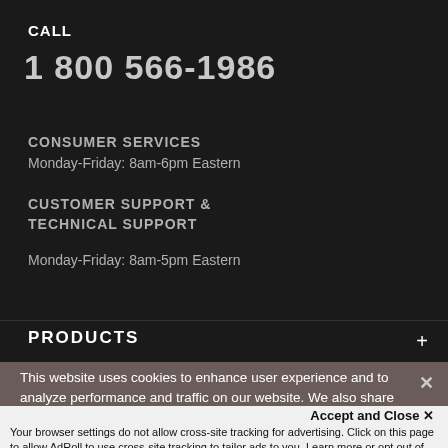CALL
1 800 566-1986
CONSUMER SERVICES
Monday-Friday: 8am-6pm Eastern
CUSTOMER SUPPORT & TECHNICAL SUPPORT
Monday-Friday: 8am-5pm Eastern
PRODUCTS
This website uses cookies to enhance user experience and to analyze performance and traffic on our website. We also share information about your use of our site with our social media, advertising and analytics partners. Cookie Policy
Accept and Close ×
Your browser settings do not allow cross-site tracking for advertising. Click on this page to allow AdRoll to use cross-site tracking to tailor ads to you. Learn more or opt out of this AdRoll tracking by clicking here. This message only appears once.